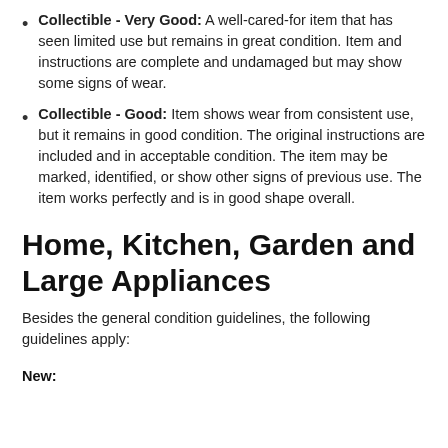Collectible - Very Good: A well-cared-for item that has seen limited use but remains in great condition. Item and instructions are complete and undamaged but may show some signs of wear.
Collectible - Good: Item shows wear from consistent use, but it remains in good condition. The original instructions are included and in acceptable condition. The item may be marked, identified, or show other signs of previous use. The item works perfectly and is in good shape overall.
Home, Kitchen, Garden and Large Appliances
Besides the general condition guidelines, the following guidelines apply:
New: